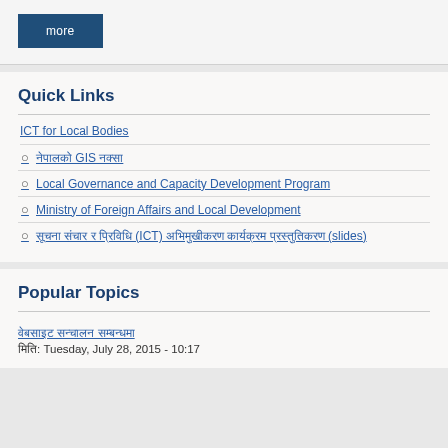more
Quick Links
ICT for Local Bodies
नेपालको GIS नक्सा
Local Governance and Capacity Development Program
Ministry of Foreign Affairs and Local Development
सूचना संचार र प्रिविधि (ICT) अभिमुखीकरण कार्यक्रम प्रस्तुतिकरण (slides)
Popular Topics
वेबसाइट सन्चालन सम्बन्धमा
मिति: Tuesday, July 28, 2015 - 10:17